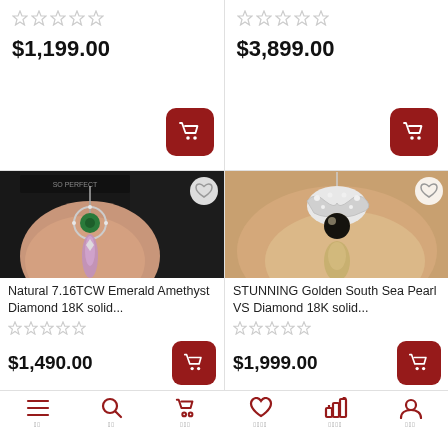$1,199.00
$3,899.00
[Figure (photo): Emerald Amethyst Diamond pendant necklace held in hand, shown on dark background with 'SO PERFECT' branding]
Natural 7.16TCW Emerald Amethyst Diamond 18K solid...
$1,490.00
[Figure (photo): Golden South Sea Pearl VS Diamond 18K pendant necklace with bow design held in hand]
STUNNING Golden South Sea Pearl VS Diamond 18K solid...
$1,999.00
Menu  Search  Cart  Wishlist  Dashboard  Profile